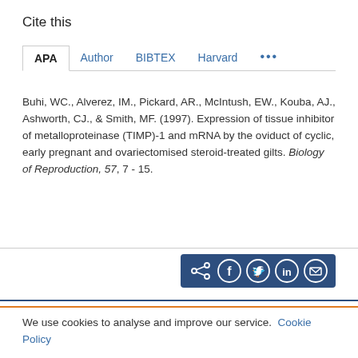Cite this
APA | Author | BIBTEX | Harvard | ...
Buhi, WC., Alverez, IM., Pickard, AR., McIntush, EW., Kouba, AJ., Ashworth, CJ., & Smith, MF. (1997). Expression of tissue inhibitor of metalloproteinase (TIMP)-1 and mRNA by the oviduct of cyclic, early pregnant and ovariectomised steroid-treated gilts. Biology of Reproduction, 57, 7 - 15.
[Figure (other): Social share icons: share, Facebook, Twitter, LinkedIn, email on dark blue background]
We use cookies to analyse and improve our service. Cookie Policy